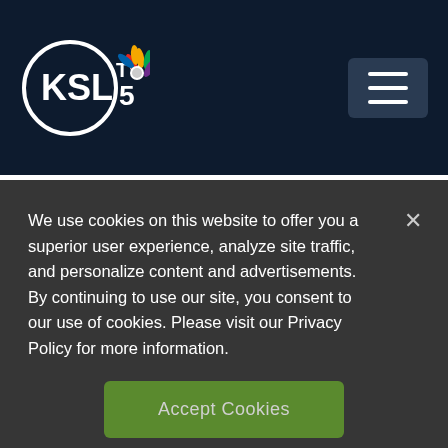[Figure (logo): KSL TV 5 NBC logo with white circle and NBC peacock icon on dark navy background, with hamburger menu button on right]
CNN
Apple expected to unveil new iPhones at ‘far out’ event on September 7
6 days ago
We use cookies on this website to offer you a superior user experience, analyze site traffic, and personalize content and advertisements. By continuing to use our site, you consent to our use of cookies. Please visit our Privacy Policy for more information.
Accept Cookies